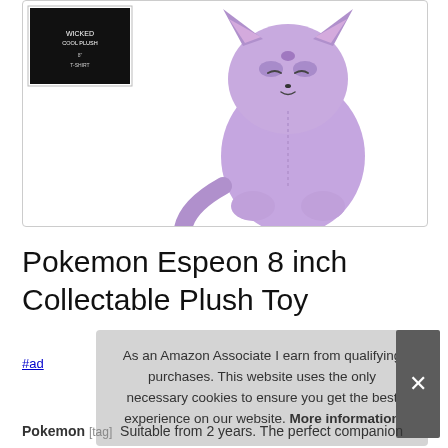[Figure (photo): Pokemon Espeon purple plush toy product image showing the stuffed animal sitting, with a small dark product box thumbnail in the top left corner]
Pokemon Espeon 8 inch Collectable Plush Toy
#ad
As an Amazon Associate I earn from qualifying purchases. This website uses the only necessary cookies to ensure you get the best experience on our website. More information
Pokemon [tag] Suitable from 2 years. The perfect companion